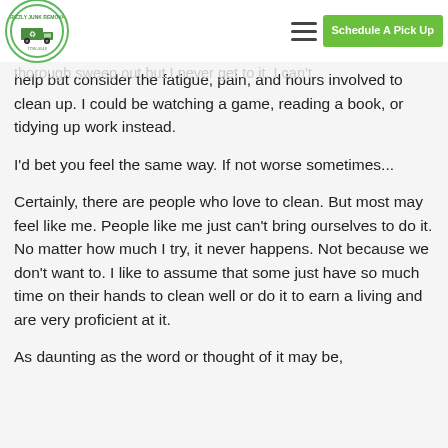and so on. Personally, thinking about it is [faded/cut off] ...g. I chicken out [cut off] bef[ore] ...make up my mind every w[eek] ...thorough sweep out but I never get to it. I can't
[Figure (logo): Grizzly Junk Removal circular logo with green border and truck icon]
Schedule A Pick Up
help but consider the fatigue, pain, and hours involved to clean up. I could be watching a game, reading a book, or tidying up work instead.
I'd bet you feel the same way. If not worse sometimes...
Certainly, there are people who love to clean. But most may feel like me. People like me just can't bring ourselves to do it. No matter how much I try, it never happens. Not because we don't want to. I like to assume that some just have so much time on their hands to clean well or do it to earn a living and are very proficient at it.
As daunting as the word or thought of it may be,